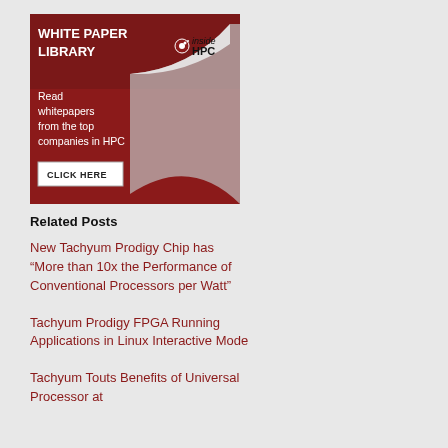[Figure (illustration): White Paper Library banner for insideHPC. Dark red background with page-curl graphic, text reads 'WHITE PAPER LIBRARY inside HPC - Read whitepapers from the top companies in HPC - CLICK HERE']
Related Posts
New Tachyum Prodigy Chip has “More than 10x the Performance of Conventional Processors per Watt”
Tachyum Prodigy FPGA Running Applications in Linux Interactive Mode
Tachyum Touts Benefits of Universal Processor at